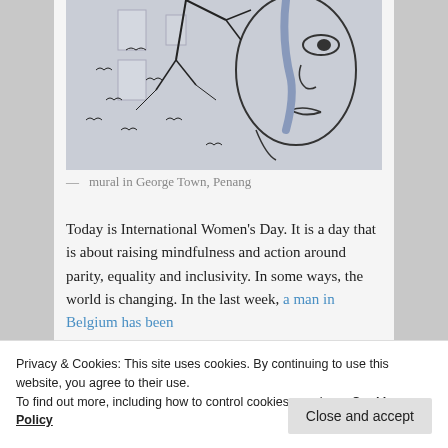[Figure (photo): A mural on a building wall in George Town, Penang, depicting a woman's face with birds and tree branches.]
— mural in George Town, Penang
Today is International Women's Day. It is a day that is about raising mindfulness and action around parity, equality and inclusivity. In some ways, the world is changing. In the last week, a man in Belgium has been
Privacy & Cookies: This site uses cookies. By continuing to use this website, you agree to their use.
To find out more, including how to control cookies, see here: Cookie Policy